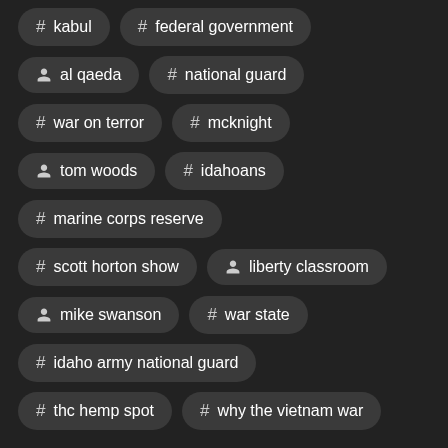# kabul
# federal government
person al qaeda
# national guard
# war on terror
# mcknight
person tom woods
# idahoans
# marine corps reserve
# scott horton show
person liberty classroom
person mike swanson
# war state
# idaho army national guard
# thc hemp spot
# why the vietnam war